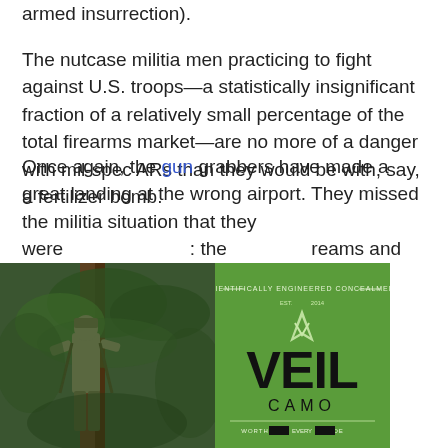armed insurrection).
The nutcase militia men practicing to fight against U.S. troops—a statistically insignificant fraction of a relatively small percentage of the total firearms market—are no more of a danger with mil-spec ARs than they would be with, say, a fertilizer bomb.
Once again, the gun grabbers have made a great landing at the wrong airport. They missed the militia situation that they were: the reams and
[Figure (photo): Person in camouflage gear climbing or positioned in a tree in a forested area.]
[Figure (logo): Veil Camo logo on green background with tagline 'Scientifically Engineered Concealment' and 'Worth Every Shade'.]